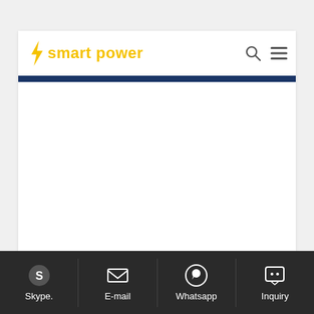[Figure (logo): Smart Power logo with yellow lightning bolt and yellow text 'smart power']
Skype. | E-mail | Whatsapp | Inquiry